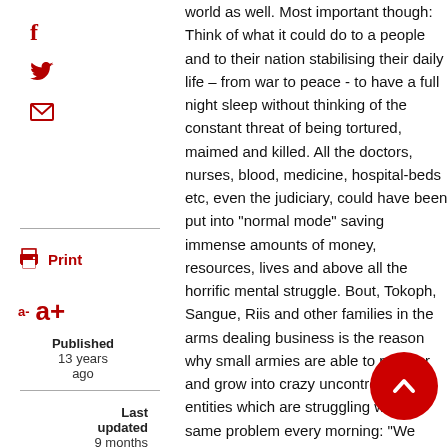[Figure (infographic): Social sharing icons: Facebook (f), Twitter (bird), Email (envelope)]
[Figure (infographic): Print icon with label 'Print', and font size controls 'a-' and 'a+']
Published 13 years ago
Last updated 9 months ago
This goes for the rest of the war zones in the world as well. Most important though: Think of what it could do to a people and to their nation stabilising their daily life – from war to peace - to have a full night sleep without thinking of the constant threat of being tortured, maimed and killed. All the doctors, nurses, blood, medicine, hospital-beds etc, even the judiciary, could have been put into “normal mode” saving immense amounts of money, resources, lives and above all the horrific mental struggle. Bout, Tokoph, Sangue, Riis and other families in the arms dealing business is the reason why small armies are able to prosper and grow into crazy uncontrollable entities which are struggling with the same problem every morning: “We need more weapons and ammunition”. Put these people out of business (offer them a normal job) and the valve from where the war is fed, is